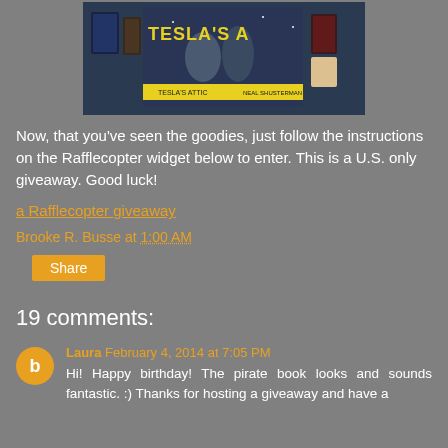[Figure (photo): Photo of Tesla's Attic book display with poster and merchandise items on a table]
Now, that you've seen the goodies, just follow the instructions on the Rafflecopter widget below to enter. This is a U.S. only giveaway. Good luck!
a Rafflecopter giveaway
Brooke R. Busse at 1:00 AM
Share
19 comments:
Laura February 4, 2014 at 7:05 PM
Hi! Happy birthday! The pirate book looks and sounds fantastic. :) Thanks for hosting a giveaway and have a